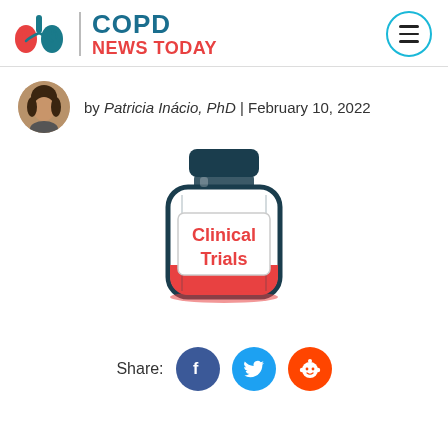COPD NEWS TODAY
by Patricia Inácio, PhD | February 10, 2022
[Figure (illustration): Illustration of a medicine vial/bottle with a label reading 'Clinical Trials' and red liquid at the bottom, styled as a cartoon clinical trials medication bottle.]
Share: